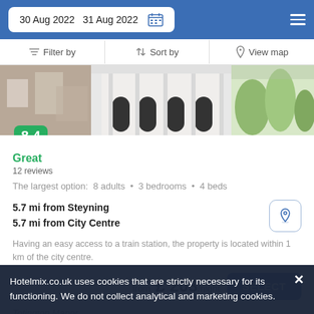30 Aug 2022  31 Aug 2022
Filter by  Sort by  View map
[Figure (photo): Exterior photo of a hotel building with white facade, arched windows, and street view]
8.4
Great
12 reviews
The largest option:  8 adults  •  3 bedrooms  •  4 beds
5.7 mi from Steyning
5.7 mi from City Centre
Having an easy access to a train station, the property is located within 1 km of the city centre.
from  £ 203/night
SELECT
Hotelmix.co.uk uses cookies that are strictly necessary for its functioning. We do not collect analytical and marketing cookies.